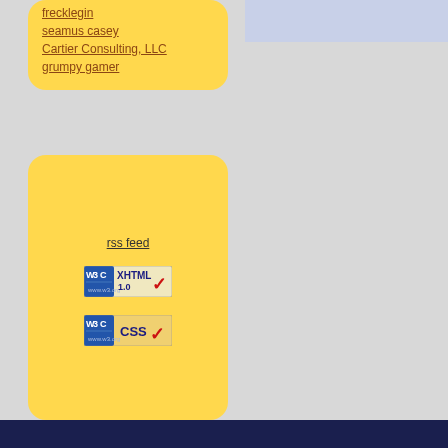frecklegin
seamus casey
Cartier Consulting, LLC
grumpy gamer
rss feed
[Figure (logo): W3C XHTML 1.0 validation badge]
[Figure (logo): W3C CSS validation badge]